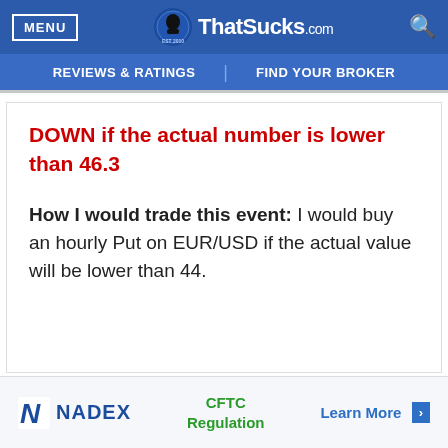MENU | ThatSucks.com | REVIEWS & RATINGS | FIND YOUR BROKER
DOWN if the actual number is lower than 46.3
How I would trade this event: I would buy an hourly Put on EUR/USD if the actual value will be lower than 44.
[Figure (logo): NADEX logo with CFTC Regulation text and Learn More link]